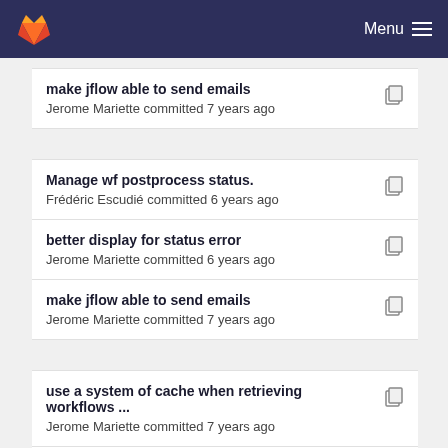GitLab Menu
make jflow able to send emails
Jerome Mariette committed 7 years ago
Manage wf postprocess status.
Frédéric Escudié committed 6 years ago
better display for status error
Jerome Mariette committed 6 years ago
make jflow able to send emails
Jerome Mariette committed 7 years ago
use a system of cache when retrieving workflows ...
Jerome Mariette committed 7 years ago
make jflow able to send emails
Jerome Mariette committed 7 years ago